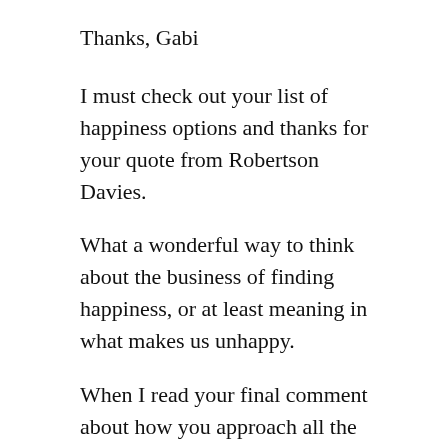Thanks, Gabi
I must check out your list of happiness options and thanks for your quote from Robertson Davies.
What a wonderful way to think about the business of finding happiness, or at least meaning in what makes us unhappy.
When I read your final comment about how you approach all the awful things you must do with the thought: what if this were the last thing to do in my life... I immediately thought of the stuff on my tax I've been avoiding lately.